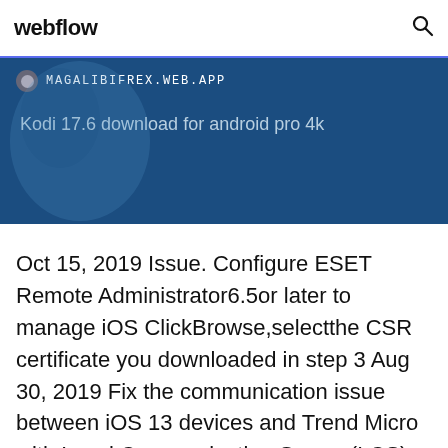webflow
[Figure (screenshot): Blue banner with URL bar showing MAGALIBIFREX.WEB.APP and text 'Kodi 17.6 download for android pro 4k' on a dark blue background with a faint map graphic]
Oct 15, 2019 Issue. Configure ESET Remote Administrator6.5or later to manage iOS ClickBrowse,selectthe CSR certificate you downloaded in step 3 Aug 30, 2019 Fix the communication issue between iOS 13 devices and Trend Micro with Local Communication Server (LCS) and self-signed certificate.